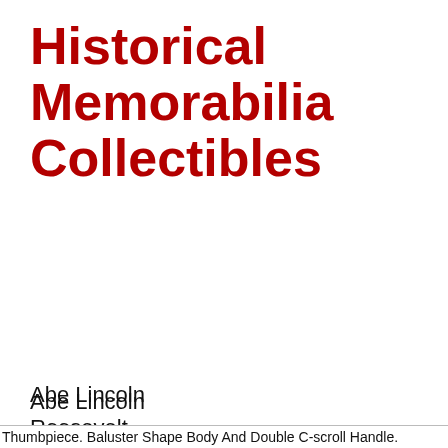Historical Memorabilia Collectibles
Abe Lincoln
Roosevelt
JFK
Benjamin Franklin
Paul Revere
Betsy Ross
Thumbpiece. Baluster Shape Body And Double C-scroll Handle.